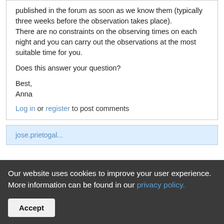published in the forum as soon as we know them (typically three weeks before the observation takes place).
There are no constraints on the observing times on each night and you can carry out the observations at the most suitable time for you.

Does this answer your question?

Best,
Anna
Log in or register to post comments
jose.prietogal...
Our website uses cookies to improve your user experience. More information can be found in our privacy policy.
Accept